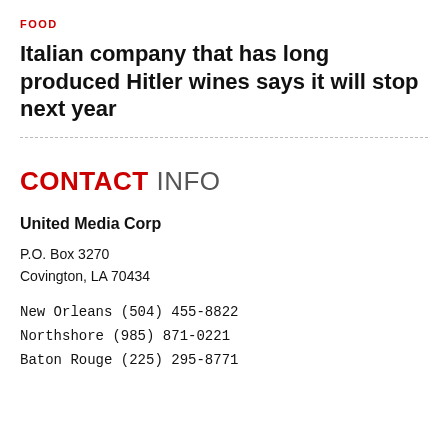FOOD
Italian company that has long produced Hitler wines says it will stop next year
CONTACT INFO
United Media Corp
P.O. Box 3270
Covington, LA 70434
New Orleans (504) 455-8822
Northshore (985) 871-0221
Baton Rouge (225) 295-8771